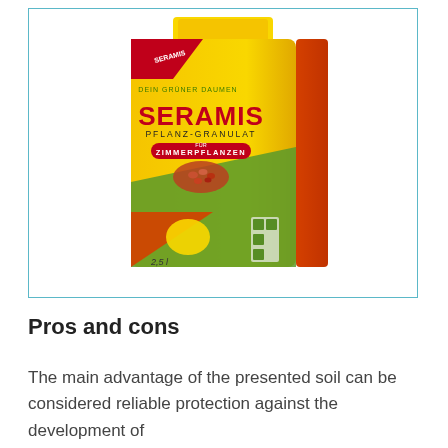[Figure (photo): Product photo of Seramis Pflanz-Granulat (plant granulate) for indoor plants, in a yellow bag with red and green accents, displayed against a white background inside a light blue border.]
Pros and cons
The main advantage of the presented soil can be considered reliable protection against the development of